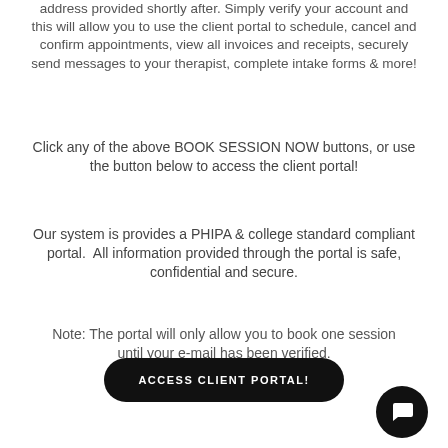address provided shortly after. Simply verify your account and this will allow you to use the client portal to schedule, cancel and confirm appointments, view all invoices and receipts, securely send messages to your therapist, complete intake forms & more!
Click any of the above BOOK SESSION NOW buttons, or use the button below to access the client portal!
Our system is provides a PHIPA & college standard compliant portal.  All information provided through the portal is safe, confidential and secure.
Note: The portal will only allow you to book one session until your e-mail has been verified.
[Figure (other): Black rounded rectangle button with white uppercase text reading ACCESS CLIENT PORTAL! and a circular black chat icon button with a speech bubble icon to the right]